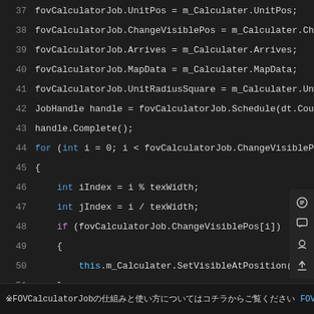[Figure (screenshot): Code editor screenshot showing C# code lines 37-54 with syntax highlighting on dark background. Lines include fovCalculatorJob assignments, a for loop, int declarations, if statement, this.m_Calculater.SetVisibleAtPosition call, and m_MaskTexture.MarkAsUpdated(). Sidebar icons visible on right.]
FOVCalculatorJobの仕組みと使い方についてはコチラからご覧ください FOVCalculatorJob.cs より